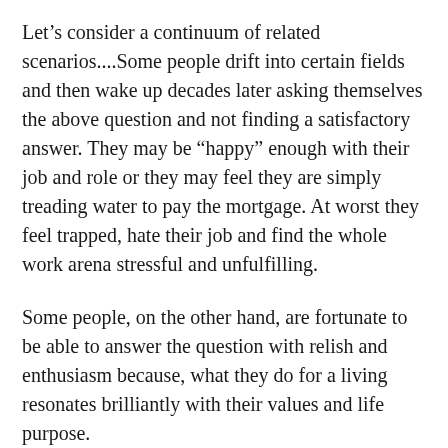Let's consider a continuum of related scenarios....Some people drift into certain fields and then wake up decades later asking themselves the above question and not finding a satisfactory answer. They may be “happy” enough with their job and role or they may feel they are simply treading water to pay the mortgage. At worst they feel trapped, hate their job and find the whole work arena stressful and unfulfilling.
Some people, on the other hand, are fortunate to be able to answer the question with relish and enthusiasm because, what they do for a living resonates brilliantly with their values and life purpose.
Where we are on this continuum, matters hugely on several levels. It affects our wellbeing and health, our